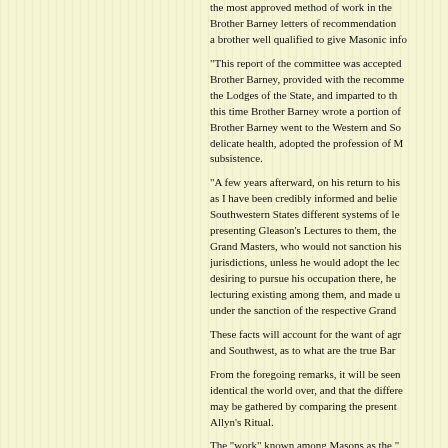the most approved method of work in the Brother Barney letters of recommendation a brother well qualified to give Masonic info
"This report of the committee was accepted Brother Barney, provided with the recomme the Lodges of the State, and imparted to th this time Brother Barney wrote a portion of Brother Barney went to the Western and So delicate health, adopted the profession of M subsistence.
"A few years afterward, on his return to his as I have been credibly informed and belie Southwestern States different systems of le presenting Gleason's Lectures to them, the Grand Masters, who would not sanction his jurisdictions, unless he would adopt the lec desiring to pursue his occupation there, he lecturing existing among them, and made u under the sanction of the respective Grand
These facts will account for the want of agr and Southwest, as to what are the true Bar
From the foregoing remarks, it will be seen identical the world over, and that the differe may be gathered by comparing the presen Allyn's Ritual.
The "work" known among Masons as the " Morris, is generally accepted as the "Work" doubt but that it will be adopted by the Gra